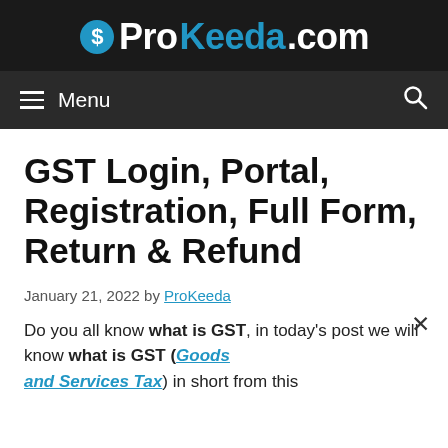ProKeeda.com
Menu
GST Login, Portal, Registration, Full Form, Return & Refund
January 21, 2022 by ProKeeda
Do you all know what is GST, in today's post we will know what is GST (Goods and Services Tax) in short from this